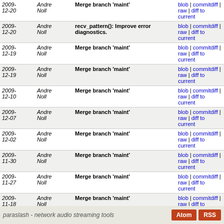| Date | Author | Message | Links |
| --- | --- | --- | --- |
| 2009-12-20 | Andre Noll | Merge branch 'maint' | blob | commitdiff | raw | diff to current |
| 2009-12-20 | Andre Noll | recv_pattern(): Improve error diagnostics. | blob | commitdiff | raw | diff to current |
| 2009-12-19 | Andre Noll | Merge branch 'maint' | blob | commitdiff | raw | diff to current |
| 2009-12-19 | Andre Noll | Merge branch 'maint' | blob | commitdiff | raw | diff to current |
| 2009-12-10 | Andre Noll | Merge branch 'maint' | blob | commitdiff | raw | diff to current |
| 2009-12-07 | Andre Noll | Merge branch 'maint' | blob | commitdiff | raw | diff to current |
| 2009-12-02 | Andre Noll | Merge branch 'maint' | blob | commitdiff | raw | diff to current |
| 2009-11-30 | Andre Noll | Merge branch 'maint' | blob | commitdiff | raw | diff to current |
| 2009-11-27 | Andre Noll | Merge branch 'maint' | blob | commitdiff | raw | diff to current |
| 2009-11-18 | Andre Noll | Merge branch 'maint' | blob | commitdiff | raw | diff to current |
| 2009-11-12 | Andre Noll | Merge branch 'maint' | blob | commitdiff | raw | diff to current |
next
paraslash - network audio streaming tools